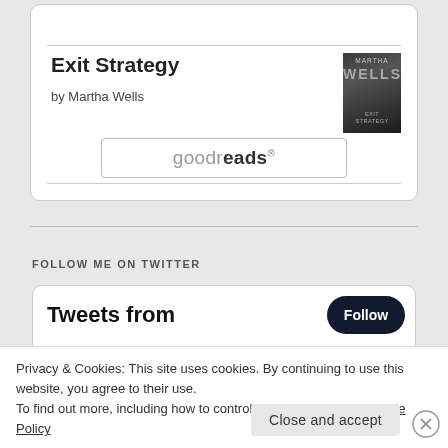Exit Strategy
by Martha Wells
[Figure (logo): goodreads button/logo inside a rounded rectangle card]
FOLLOW ME ON TWITTER
Tweets from
Follow
Privacy & Cookies: This site uses cookies. By continuing to use this website, you agree to their use.
To find out more, including how to control cookies, see here: Cookie Policy
Close and accept